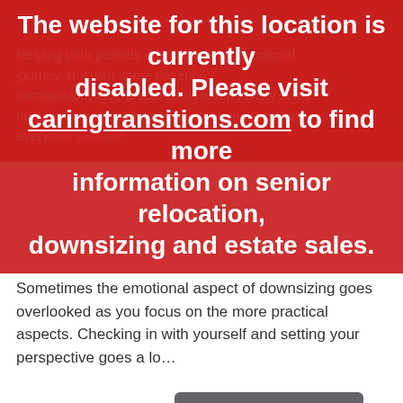The website for this location is currently disabled. Please visit caringtransitions.com to find more information on senior relocation, downsizing and estate sales.
Helping your parents downsize is an emotional journey. But with some patience, compassion, tact, preparation, and possibly some outside help, it can be a smooth experience for everyone involved.
Prepare Yourself Mentally and Emotionally
Sometimes the emotional aspect of downsizing goes overlooked as you focus on the more practical aspects. Checking in with yourself and setting your perspective goes a lo…
Read More →
Tagged: Downsizing, Decluttering, Senior Downsizing, Organizing, Aging Parents
[Figure (infographic): Social share icons: Facebook, Twitter, LinkedIn, Email on dark rounded square buttons]